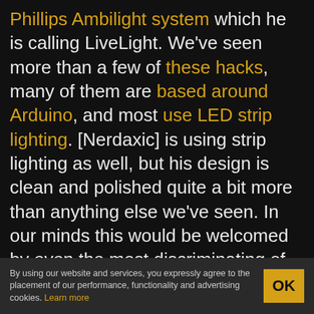Phillips Ambilight system which he is calling LiveLight. We've seen more than a few of these hacks, many of them are based around Arduino, and most use LED strip lighting. [Nerdaxic] is using strip lighting as well, but his design is clean and polished quite a bit more than anything else we've seen. In our minds this would be welcomed by even the most discriminating of A/V enthusiasts.

He found just the right size of project box and managed to fit everything in on a nicely milled PCB. The enclosure itself has also been milled
By using our website and services, you expressly agree to the placement of our performance, functionality and advertising cookies. Learn more